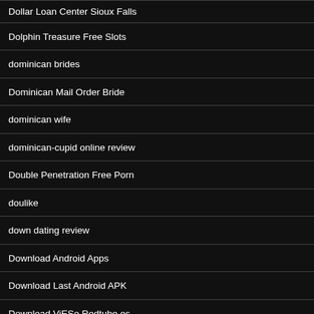Dollar Loan Center Sioux Falls
Dolphin Treasure Free Slots
dominican brides
Dominican Mail Order Bride
dominican wife
dominican-cupid online review
Double Penetration Free Porn
doulike
down dating review
Download Android Apps
Download Last Android APK
Download ViESo Redtube.es
Download ViFRo Redtube.fr